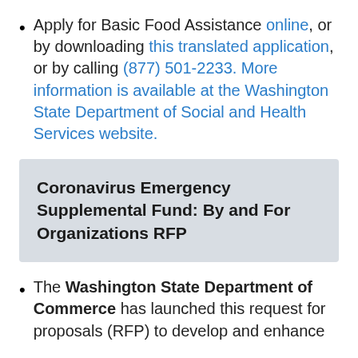Apply for Basic Food Assistance online, or by downloading this translated application, or by calling (877) 501-2233. More information is available at the Washington State Department of Social and Health Services website.
Coronavirus Emergency Supplemental Fund: By and For Organizations RFP
The Washington State Department of Commerce has launched this request for proposals (RFP) to develop and enhance